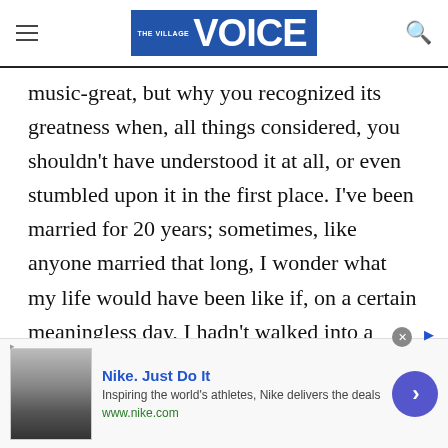The Village Voice
music-great, but why you recognized its greatness when, all things considered, you shouldn't have understood it at all, or even stumbled upon it in the first place. I've been married for 20 years; sometimes, like anyone married that long, I wonder what my life would have been like if, on a certain meaningless day, I hadn't walked into a certain meaningless room. Sometimes I think my life would be more or less the same; sometimes I think I wouldn't have a life at all. I feel the same way about
[Figure (screenshot): Nike advertisement banner at the bottom of the page with thumbnail image, Nike. Just Do It headline, description text, www.nike.com URL, and a purple arrow button.]